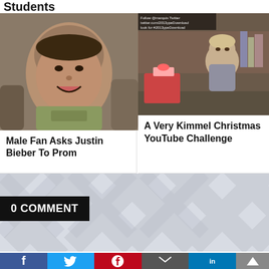Students
[Figure (photo): Young male teenager making an excited expression, sitting in front of a couch]
Male Fan Asks Justin Bieber To Prom
[Figure (photo): Young child sitting on a couch near Christmas presents, with a small overlay text banner at top]
A Very Kimmel Christmas YouTube Challenge
0 COMMENT
[Figure (photo): Thumbnail of a person, partially visible on the left side]
Should You Aim For YouTube Fame?
[…] h… tural consciousness since as long … and now YouTube has made it … b… n … o achieve fame […]